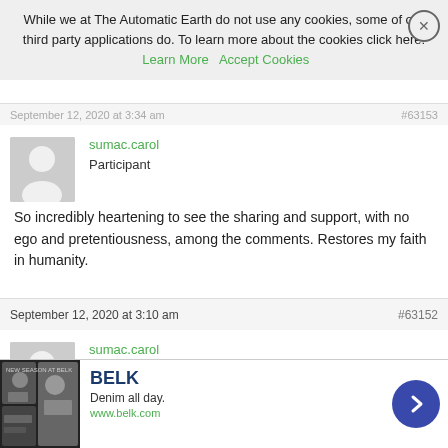While we at The Automatic Earth do not use any cookies, some of our third party applications do. To learn more about the cookies click here: Learn More   Accept Cookies
sumac.carol
Participant
So incredibly heartening to see the sharing and support, with no ego and pretentiousness, among the comments. Restores my faith in humanity.
September 12, 2020 at 3:10 am   #63152
sumac.carol
Participant
[Figure (infographic): Advertisement banner for BELK: 'Denim all day. www.belk.com' with photo of people in denim and a blue arrow button]